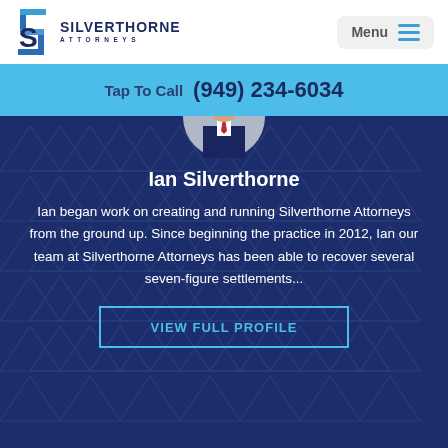[Figure (logo): Silverthorne Attorneys logo with stylized S in blue and company name]
Menu
Tap To Call  (949) 234-6034
[Figure (photo): Partial photo of Ian Silverthorne in a suit with red tie, circular crop]
Ian Silverthorne
Ian began work on creating and running Silverthorne Attorneys from the ground up. Since beginning the practice in 2012, Ian our team at Silverthorne Attorneys has been able to recover several seven-figure settlements...
VIEW FULL PROFILE